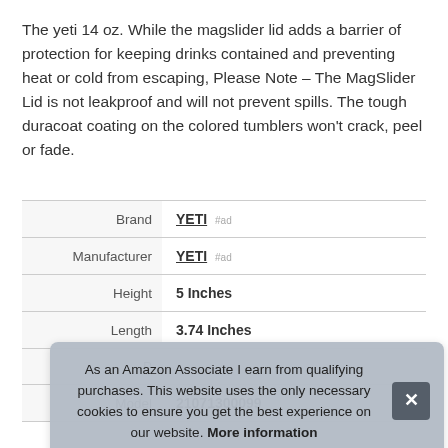The yeti 14 oz. While the magslider lid adds a barrier of protection for keeping drinks contained and preventing heat or cold from escaping, Please Note – The MagSlider Lid is not leakproof and will not prevent spills. The tough duracoat coating on the colored tumblers won't crack, peel or fade.
|  |  |
| --- | --- |
| Brand | YETI #ad |
| Manufacturer | YETI #ad |
| Height | 5 Inches |
| Length | 3.74 Inches |
| P |  |
| Model | 21071300099 |
As an Amazon Associate I earn from qualifying purchases. This website uses the only necessary cookies to ensure you get the best experience on our website. More information